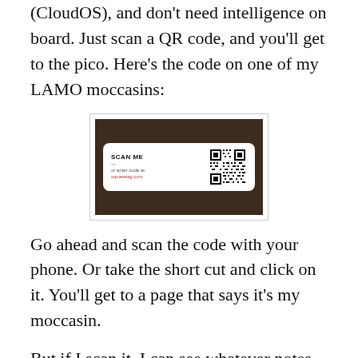(CloudOS), and don't need intelligence on board. Just scan a QR code, and you'll get to the pico. Here's the code on one of my LAMO moccasins:
[Figure (photo): A photo of a QR code label on a brown leather surface. The label reads 'SCAN ME' with a QR code and 'or enter code at squaretag.com']
Go ahead and scan the code with your phone. Or take the short cut and click on it. You'll get to a page that says it's my moccasin.
But if I scan it, I can see whatever notes I've taken. Or whatever LAMO has put in there, with my permission. Also whatever programming has been done on it. Such as this logic: IF this is scanned, THEN send LAMO a note that Doc has a new entry in our common journal. Likewise, LAMO can send me a note saying that there is new